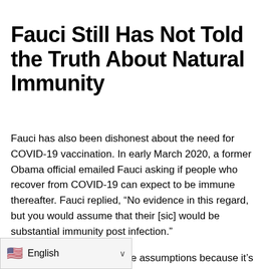Fauci Still Has Not Told the Truth About Natural Immunity
Fauci has also been dishonest about the need for COVID-19 vaccination. In early March 2020, a former Obama official emailed Fauci asking if people who recover from COVID-19 can expect to be immune thereafter. Fauci replied, “No evidence in this regard, but you would assume that their [sic] would be substantial immunity post infection.”
Here, it’s fairly safe to make assumptions because it’s a well-established medical fact that when you recover from a viral infection, you are immune, and [text continues below fold] along in many cases. It would